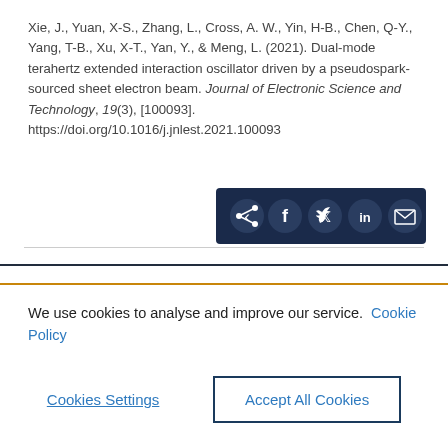Xie, J., Yuan, X-S., Zhang, L., Cross, A. W., Yin, H-B., Chen, Q-Y., Yang, T-B., Xu, X-T., Yan, Y., & Meng, L. (2021). Dual-mode terahertz extended interaction oscillator driven by a pseudospark-sourced sheet electron beam. Journal of Electronic Science and Technology, 19(3), [100093]. https://doi.org/10.1016/j.jnlest.2021.100093
[Figure (other): Social share bar with icons for share, Facebook, Twitter, LinkedIn, and email on a dark navy background]
We use cookies to analyse and improve our service. Cookie Policy
Cookies Settings    Accept All Cookies